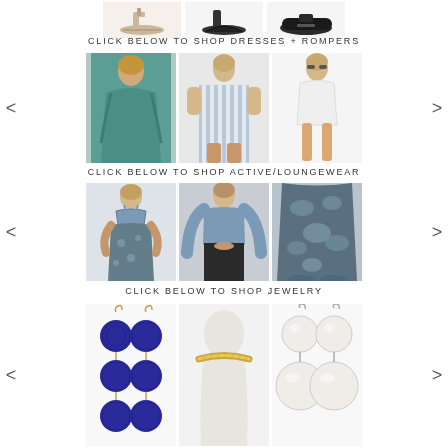[Figure (photo): Three pairs of shoes/footwear shown at top: nude heeled sandals, black heeled mules, black loafers]
CLICK BELOW TO SHOP DRESSES + ROMPERS
[Figure (photo): Carousel of dresses and rompers: teal wrap dress, blue striped romper, white mini dress. Navigation arrows on sides.]
CLICK BELOW TO SHOP ACTIVE/LOUNGEWEAR
[Figure (photo): Carousel of activewear: floral print sports bra and leggings set, blue long sleeve crop top, floral print leggings. Navigation arrows on sides.]
CLICK BELOW TO SHOP JEWELRY
[Figure (photo): Carousel of jewelry: navy blue pom pom drop earrings, gold choker necklace on mannequin, large pearl drop earrings. Navigation arrows on sides.]